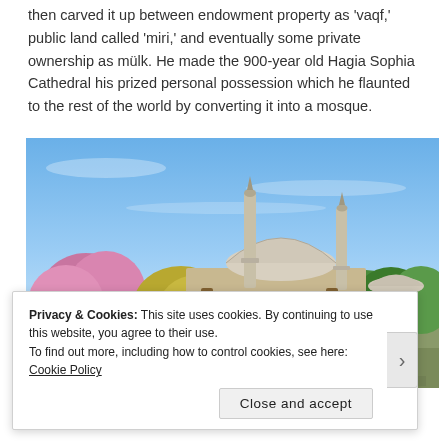then carved it up between endowment property as 'vaqf,' public land called 'miri,' and eventually some private ownership as mülk. He made the 900-year old Hagia Sophia Cathedral his prized personal possession which he flaunted to the rest of the world by converting it into a mosque.
[Figure (photo): Photograph of Hagia Sophia in Istanbul with minarets, dome, trees including pink flowering trees, and a blue sky with a crowd visible at the base.]
Privacy & Cookies: This site uses cookies. By continuing to use this website, you agree to their use.
To find out more, including how to control cookies, see here: Cookie Policy